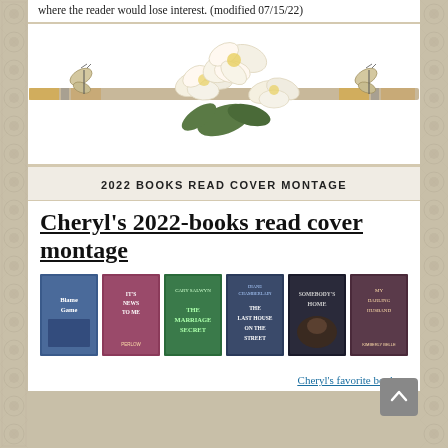where the reader would lose interest. (modified 07/15/22)
[Figure (illustration): Decorative floral divider with white/cream magnolia flowers and two butterflies on a striped ribbon, used as a section separator.]
2022 BOOKS READ COVER MONTAGE
Cheryl's 2022-books read cover montage
[Figure (photo): A row of book covers for Cheryl's 2022 books read cover montage, showing titles including 'Blame Game', 'It's News to Me', 'The Marriage Secret', 'The Last House on the Street', 'Somebody's Home', and 'My Darling Husband'.]
Cheryl's favorite books »